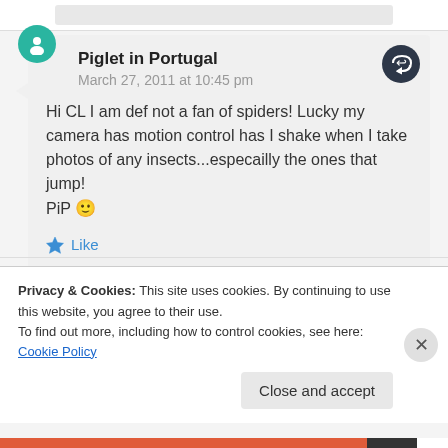Piglet in Portugal
March 27, 2011 at 10:45 pm
Hi CL I am def not a fan of spiders! Lucky my camera has motion control has I shake when I take photos of any insects...especailly the ones that jump!
PiP 🙂
Like
Advertisements
Privacy & Cookies: This site uses cookies. By continuing to use this website, you agree to their use.
To find out more, including how to control cookies, see here: Cookie Policy
Close and accept